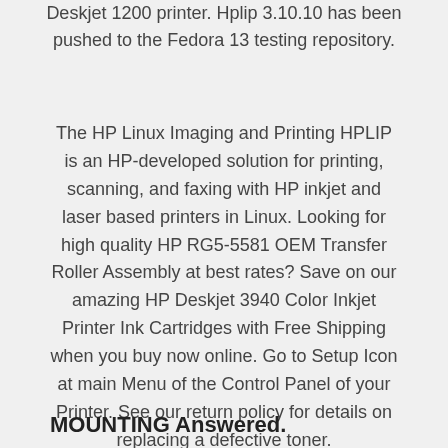Deskjet 1200 printer. Hplip 3.10.10 has been pushed to the Fedora 13 testing repository.
The HP Linux Imaging and Printing HPLIP is an HP-developed solution for printing, scanning, and faxing with HP inkjet and laser based printers in Linux. Looking for high quality HP RG5-5581 OEM Transfer Roller Assembly at best rates? Save on our amazing HP Deskjet 3940 Color Inkjet Printer Ink Cartridges with Free Shipping when you buy now online. Go to Setup Icon at main Menu of the Control Panel of your Printer. See our return policy for details on replacing a defective toner.
MOUNTING Answered.